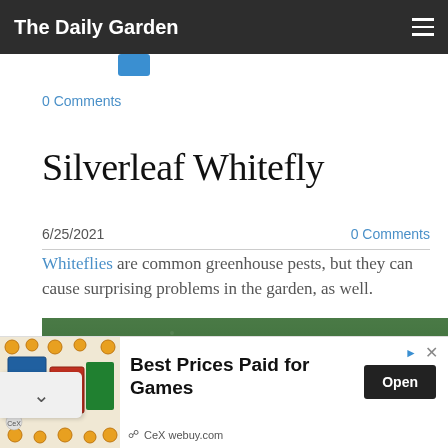The Daily Garden
0 Comments
Silverleaf Whitefly
6/25/2021    0 Comments
Whiteflies are common greenhouse pests, but they can cause surprising problems in the garden, as well.
[Figure (photo): Close-up photo of a green leaf surface with small white whitefly insects visible]
[Figure (screenshot): Advertisement banner: Best Prices Paid for Games - CeX webuy.com, with Open button]